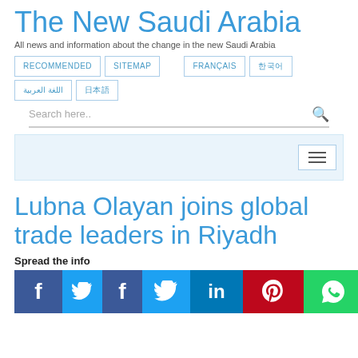The New Saudi Arabia
All news and information about the change in the new Saudi Arabia
RECOMMENDED
SITEMAP
FRANÇAIS
한국어
اللغة العربية
日本語
Search here..
Lubna Olayan joins global trade leaders in Riyadh
Spread the info